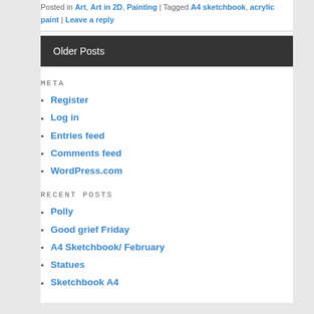Posted in Art, Art in 2D, Painting | Tagged A4 sketchbook, acrylic paint | Leave a reply
Older Posts
META
Register
Log in
Entries feed
Comments feed
WordPress.com
RECENT POSTS
Polly
Good grief Friday
A4 Sketchbook/ February
Statues
Sketchbook A4